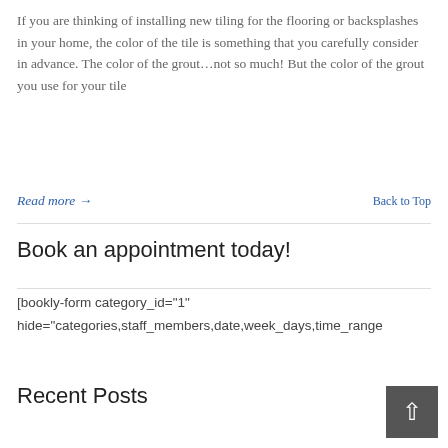If you are thinking of installing new tiling for the flooring or backsplashes in your home, the color of the tile is something that you carefully consider in advance. The color of the grout…not so much! But the color of the grout you use for your tile
Read more →
Back to Top
Book an appointment today!
[bookly-form category_id="1" hide="categories,staff_members,date,week_days,time_range
Recent Posts